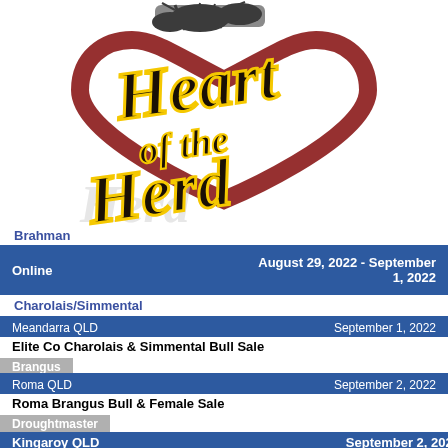[Figure (logo): Heart of the Herd logo with a red heart outline and script text reading 'Heart of the Herd' with cattle silhouette at top]
Brahman
Online  August 29, 2022 - September 1, 2022
Charolais/Simmental
Meandarra QLD  September 1, 2022
Elite Co Charolais & Simmental Bull Sale
Brangus
Roma QLD  September 2, 2022
Roma Brangus Bull & Female Sale
Droughtmaster
Kingaroy QLD  September 2, 2022